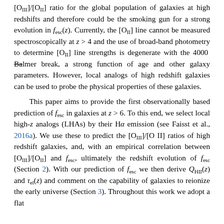[O III]/[O II] ratio for the global population of galaxies at high redshifts and therefore could be the smoking gun for a strong evolution in f_esc(z). Currently, the [O II] line cannot be measured spectroscopically at z > 4 and the use of broad-band photometry to determine [O II] line strengths is degenerate with the 4000\Balmer break, a strong function of age and other galaxy parameters. However, local analogs of high redshift galaxies can be used to probe the physical properties of these galaxies.
This paper aims to provide the first observationally based prediction of f_esc in galaxies at z > 6. To this end, we select local high-z analogs (LHAs) by their H-alpha emission (see Faisst et al., 2016a). We use these to predict the [O III]/[O II] ratios of high redshift galaxies, and, with an empirical correlation between [O III]/[O II] and f_esc, ultimately the redshift evolution of f_esc (Section 2). With our prediction of f_esc we then derive Q_HII(z) and tau_el(z) and comment on the capability of galaxies to reionize the early universe (Section 3). Throughout this work we adopt a flat